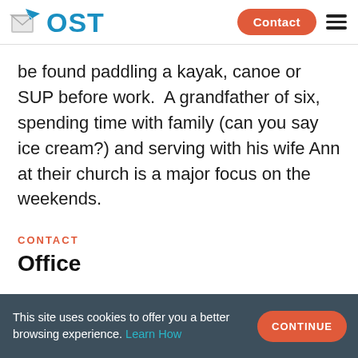OST | Contact
be found paddling a kayak, canoe or SUP before work.  A grandfather of six, spending time with family (can you say ice cream?) and serving with his wife Ann at their church is a major focus on the weekends.
CONTACT
Office
This site uses cookies to offer you a better browsing experience. Learn How